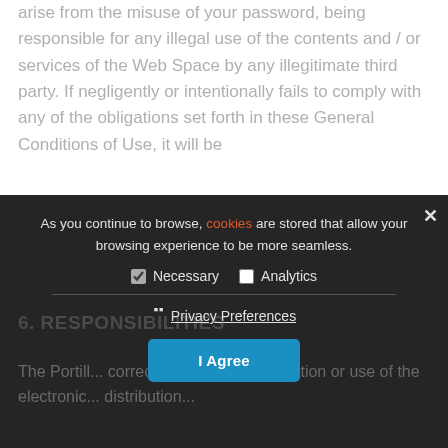arise from the misuse of your password, being responsible for any illegal use of the contents and / or services of the Web Space by any illegitimate third party. If negligently or intentionally fails to comply with any of the obligations set forth in these General Conditions of Use, it will be
As you continue to browse, cookies are stored that allow your browsing experience to be more seamless.
Necessary | Analytics
Privacy Preferences
I Agree
6. RESPONSIBILITIES
The Portillo... correct. Virtually all information or use of the electronic... distribution...